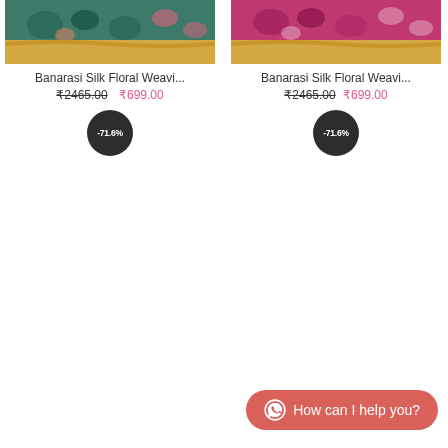[Figure (photo): Banarasi silk saree with teal/green floral weaving pattern and gold border, partially folded on wooden surface]
Banarasi Silk Floral Weavi...
₹2465.00 ₹699.00
[Figure (infographic): Dark circular badge showing -71.6% discount]
[Figure (photo): Banarasi silk saree with magenta/pink floral weaving pattern and gold border, partially folded on wooden surface]
Banarasi Silk Floral Weavi...
₹2465.00 ₹699.00
[Figure (infographic): Dark circular badge showing -71.6% discount]
How can I help you?